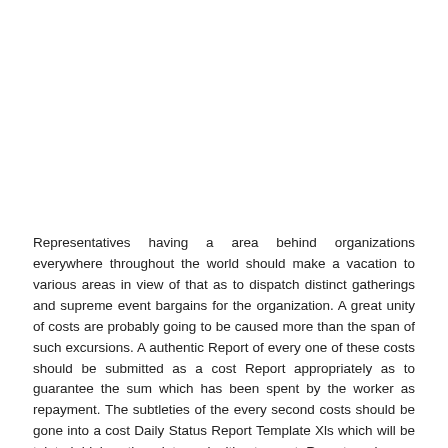Representatives having a area behind organizations everywhere throughout the world should make a vacation to various areas in view of that as to dispatch distinct gatherings and supreme event bargains for the organization. A great unity of costs are probably going to be caused more than the span of such excursions. A authentic Report of every one of these costs should be submitted as a cost Report appropriately as to guarantee the sum which has been spent by the worker as repayment. The subtleties of the every second costs should be gone into a cost Daily Status Report Template Xls which will be tainted higher than into a legitimate cost Report and once submitted to the bookkeeping